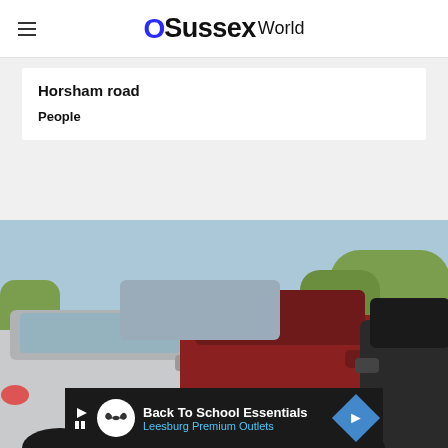OSussexWorld
Horsham road
People
[Figure (photo): Traffic jam showing multiple cars bumper-to-bumper, viewed from behind. Cars include a silver/grey SUV on the left and a red SUV in the centre, with other vehicles visible.]
Back To School Essentials Leesburg Premium Outlets